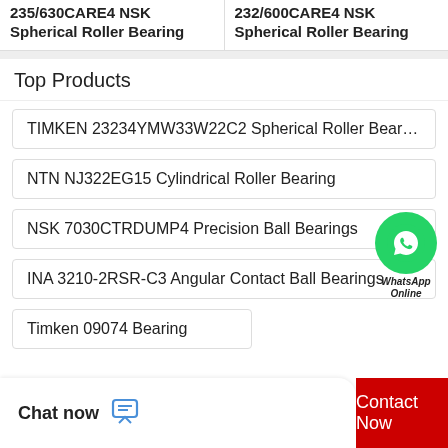235/630CARE4 NSK Spherical Roller Bearing
232/600CARE4 NSK Spherical Roller Bearing
Top Products
TIMKEN 23234YMW33W22C2 Spherical Roller Bearings
NTN NJ322EG15 Cylindrical Roller Bearing
NSK 7030CTRDUMP4 Precision Ball Bearings
INA 3210-2RSR-C3 Angular Contact Ball Bearings
Timken 09074 Bearing
[Figure (logo): WhatsApp Online button — green circle with phone handset icon and italic bold text 'WhatsApp Online' below]
Chat now
Contact Now